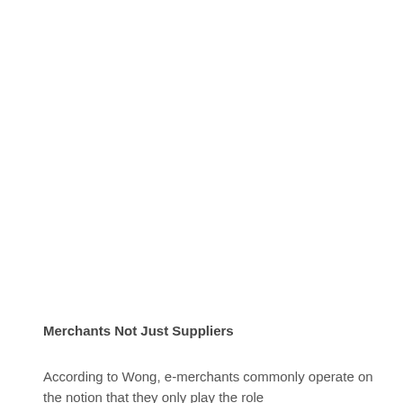Merchants Not Just Suppliers
According to Wong, e-merchants commonly operate on the notion that they only play the role